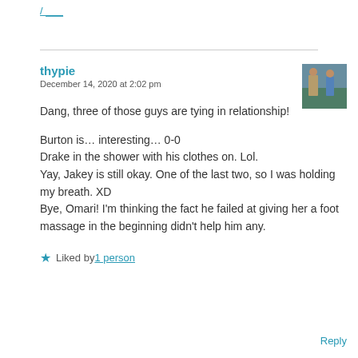/ [link]
thypie
December 14, 2020 at 2:02 pm
[Figure (photo): Small profile avatar photo showing people outdoors]
Dang, three of those guys are tying in relationship!

Burton is... interesting... 0-0
Drake in the shower with his clothes on. Lol.
Yay, Jakey is still okay. One of the last two, so I was holding my breath. XD
Bye, Omari! I'm thinking the fact he failed at giving her a foot massage in the beginning didn't help him any.
★ Liked by 1 person
Reply